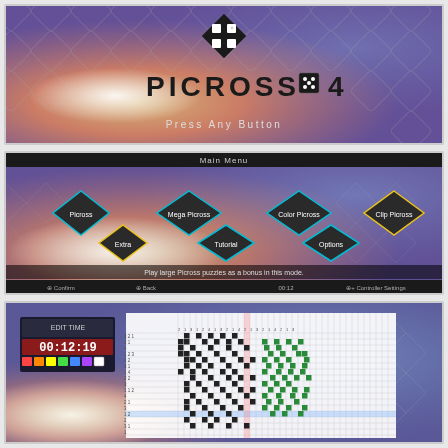[Figure (screenshot): Picross S4 title screen with colorful diamond pattern background, game logo 'PICROSS S4' with dice-style S icon, and 'Press Any Button' text at bottom]
[Figure (screenshot): Picross S4 Main Menu screen showing menu buttons: Picross, Mega Picross, Color Picross, Clip Picross in top row and Extra, Tutorial, Options in bottom row. Bottom bar shows 'Play large Picross puzzles as a bonus in this mode.' with controller instructions.]
[Figure (screenshot): Picross S4 gameplay screen showing a large nonogram/picross puzzle grid being solved, with a timer showing 00:12:19, color palette, and partially filled pixel art image.]